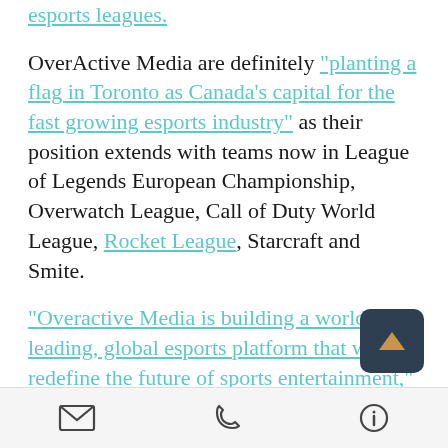esports leagues. [link, truncated from above]
OverActive Media are definitely "planting a flag in Toronto as Canada's capital for the fast growing esports industry" as their position extends with teams now in League of Legends European Championship, Overwatch League, Call of Duty World League, Rocket League, Starcraft and Smite.
"Overactive Media is building a world-leading, global esports platform that will redefine the future of sports entertainment," said Chris Overh... President and CEO of OverActive Media. "Our expanded partnership with...
mail | phone | info